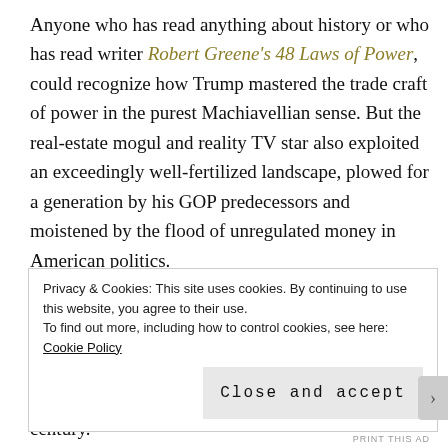Anyone who has read anything about history or who has read writer Robert Greene's 48 Laws of Power, could recognize how Trump mastered the trade craft of power in the purest Machiavellian sense. But the real-estate mogul and reality TV star also exploited an exceedingly well-fertilized landscape, plowed for a generation by his GOP predecessors and moistened by the flood of unregulated money in American politics.
Trump's performance as a titillating, transcendent messenger was similar to demagogues of the last century.
Privacy & Cookies: This site uses cookies. By continuing to use this website, you agree to their use.
To find out more, including how to control cookies, see here: Cookie Policy
[Close and accept]